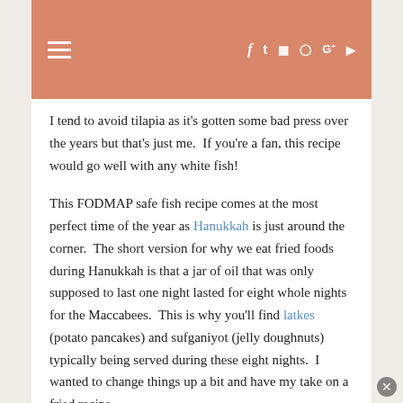≡  f  t  ☐   Pinterest  G+  ▶
I tend to avoid tilapia as it's gotten some bad press over the years but that's just me.  If you're a fan, this recipe would go well with any white fish!
This FODMAP safe fish recipe comes at the most perfect time of the year as Hanukkah is just around the corner.  The short version for why we eat fried foods during Hanukkah is that a jar of oil that was only supposed to last one night lasted for eight whole nights for the Maccabees.  This is why you'll find latkes (potato pancakes) and sufganiyot (jelly doughnuts) typically being served during these eight nights.  I wanted to change things up a bit and have my take on a fried recipe